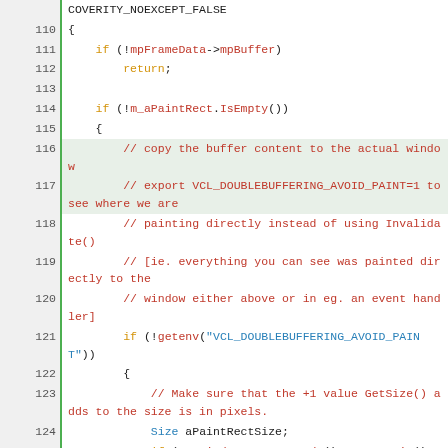[Figure (screenshot): Source code viewer showing C++ code lines 110-131, with line numbers on the left column separated by a green vertical bar. Syntax highlighting: keywords in orange/gold, comments in red/orange, string literals in blue, type names in blue, identifiers in dark/black.]